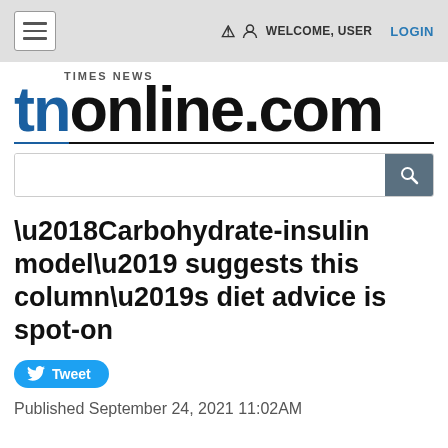WELCOME, USER   LOGIN
[Figure (logo): tnonline.com Times News logo with blue 'tn' and black 'online.com' in bold large font]
Search box
‘Carbohydrate-insulin model’ suggests this column’s diet advice is spot-on
Tweet
Published September 24, 2021 11:02AM